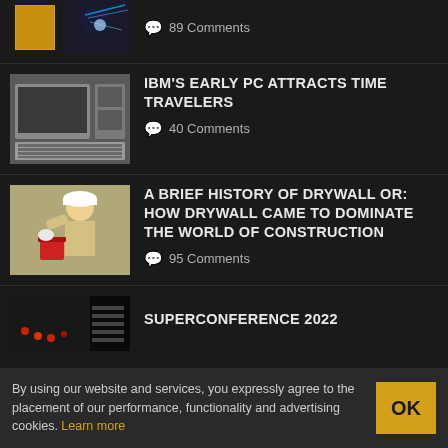89 Comments
IBM'S EARLY PC ATTRACTS TIME TRAVELERS
40 Comments
A BRIEF HISTORY OF DRYWALL OR: HOW DRYWALL CAME TO DOMINATE THE WORLD OF CONSTRUCTION
95 Comments
SUPERCONFERENCE 2022
By using our website and services, you expressly agree to the placement of our performance, functionality and advertising cookies. Learn more